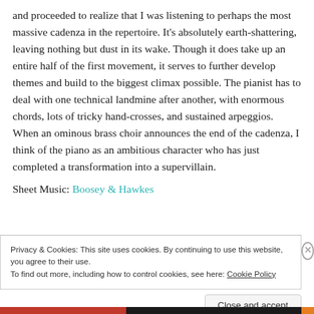and proceeded to realize that I was listening to perhaps the most massive cadenza in the repertoire. It's absolutely earth-shattering, leaving nothing but dust in its wake. Though it does take up an entire half of the first movement, it serves to further develop themes and build to the biggest climax possible. The pianist has to deal with one technical landmine after another, with enormous chords, lots of tricky hand-crosses, and sustained arpeggios. When an ominous brass choir announces the end of the cadenza, I think of the piano as an ambitious character who has just completed a transformation into a supervillain.
Sheet Music: Boosey & Hawkes
Privacy & Cookies: This site uses cookies. By continuing to use this website, you agree to their use.
To find out more, including how to control cookies, see here: Cookie Policy
Close and accept